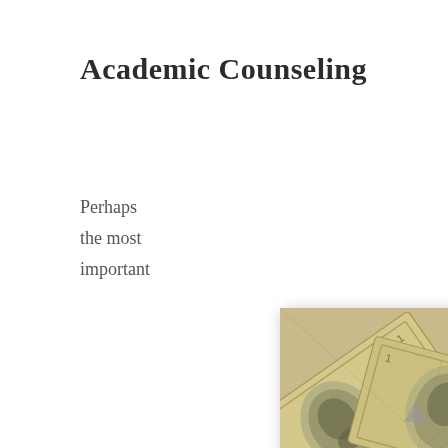Academic Counseling
Perhaps the most important
[Figure (photo): Close-up photograph of multiple US dollar bills overlapping at various angles, showing portraits and green Treasury seals.]